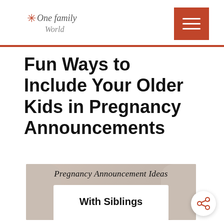OneFamilyWorld logo and navigation menu
Fun Ways to Include Your Older Kids in Pregnancy Announcements
[Figure (photo): Photo of a pregnant woman in a white top with arms visible, overlaid with text reading 'Pregnancy Announcement Ideas With Siblings' in script and bold fonts.]